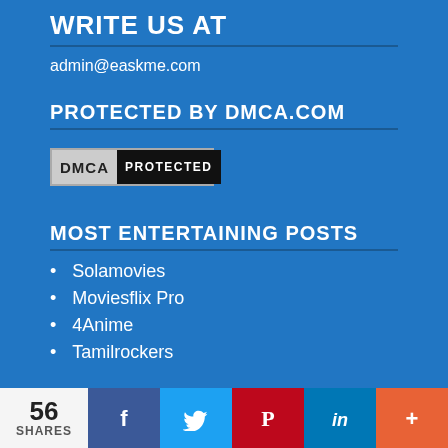WRITE US AT
admin@easkme.com
PROTECTED BY DMCA.COM
[Figure (logo): DMCA Protected badge — grey DMCA label on left, black PROTECTED text on right]
MOST ENTERTAINING POSTS
Solamovies
Moviesflix Pro
4Anime
Tamilrockers
56 SHARES — social share bar with Facebook, Twitter, Pinterest, LinkedIn, More buttons